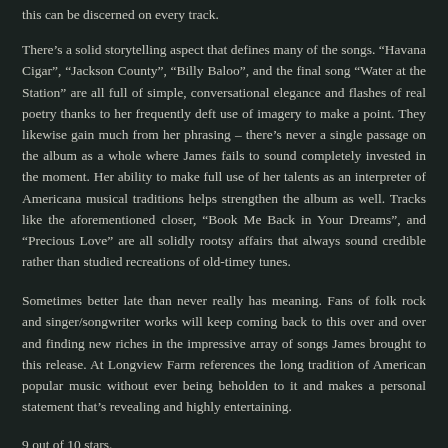this can be discerned on every track.
There’s a solid storytelling aspect that defines many of the songs. “Havana Cigar”, “Jackson County”, “Billy Baloo”, and the final song “Water at the Station” are all full of simple, conversational elegance and flashes of real poetry thanks to her frequently deft use of imagery to make a point. They likewise gain much from her phrasing – there’s never a single passage on the album as a whole where James fails to sound completely invested in the moment. Her ability to make full use of her talents as an interpreter of Americana musical traditions helps strengthen the album as well. Tracks like the aforementioned closer, “Book Me Back in Your Dreams”, and “Precious Love” are all solidly rootsy affairs that always sound credible rather than studied recreations of old-timey tunes.
Sometimes better late than never really has meaning. Fans of folk rock and singer/songwriter works will keep coming back to this over and over and finding new riches in the impressive array of songs James brought to this release. At Longview Farm references the long tradition of American popular music without ever being beholden to it and makes a personal statement that’s revealing and highly entertaining.
9 out of 10 stars.